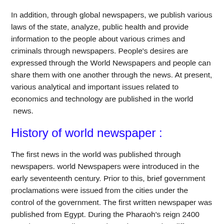In addition, through global newspapers, we publish various laws of the state, analyze, public health and provide information to the people about various crimes and criminals through newspapers. People's desires are expressed through the World Newspapers and people can share them with one another through the news. At present, various analytical and important issues related to economics and technology are published in the world  news.
History of world newspaper :
The first news in the world was published through newspapers. world Newspapers were introduced in the early seventeenth century. Prior to this, brief government proclamations were issued from the cities under the control of the government. The first written newspaper was published from Egypt. During the Pharaoh's reign 2400 BC, decrees or edicts were issued to spread to different parts of the state in the form of courier services, the most popular modern media.